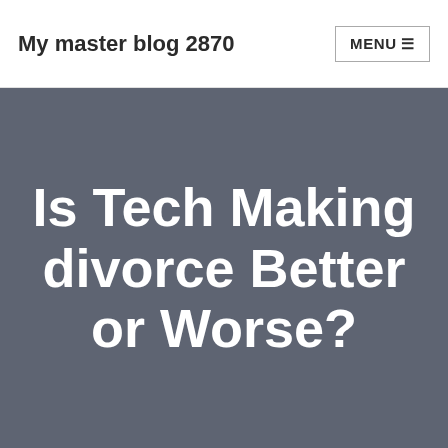My master blog 2870
Is Tech Making divorce Better or Worse?